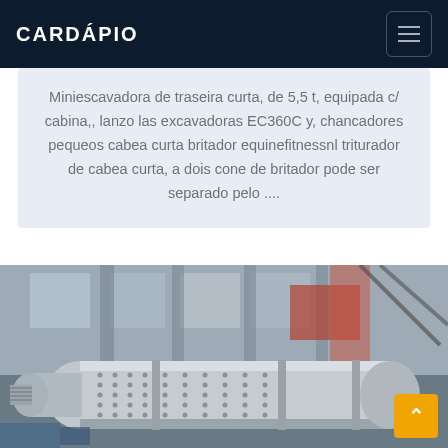CARDÁPIO
Miniescavadora de traseira curta, de 5,5 t, equipada c/ cabina,, lanzo las excavadoras EC360C y, chancadores pequeos cabea curta britador equinefitnessnl triturador de cabea curta, a dois cone de britador pode ser separado pelo ....
[Figure (photo): Industrial machinery — large cylindrical grinding mill or rotary drum inside a factory/warehouse building. The silver cylindrical drum with bolt patterns is the main subject, photographed at close range inside a concrete industrial structure.]